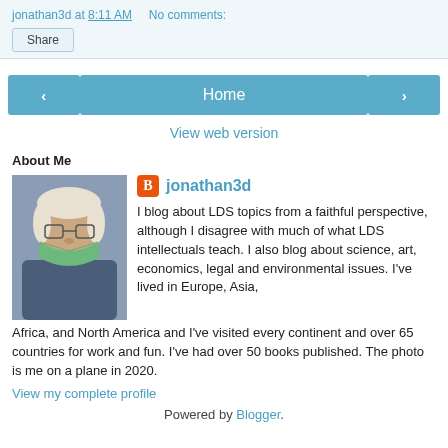jonathan3d at 8:11 AM   No comments:
Share
‹   Home   ›
View web version
About Me
[Figure (photo): Photo of a man wearing a green face mask, presumably jonathan3d, taken on a plane in 2020]
jonathan3d
I blog about LDS topics from a faithful perspective, although I disagree with much of what LDS intellectuals teach. I also blog about science, art, economics, legal and environmental issues. I've lived in Europe, Asia, Africa, and North America and I've visited every continent and over 65 countries for work and fun. I've had over 50 books published. The photo is me on a plane in 2020.
View my complete profile
Powered by Blogger.